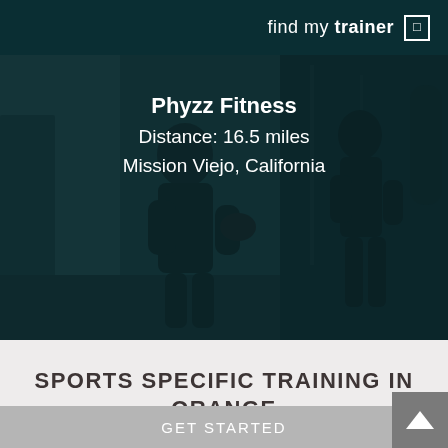find my trainer
[Figure (photo): Dark background photo of two people in a gym/boxing setting, one in dark clothing appearing to train with boxing equipment. Overlaid with dark teal color tint.]
Phyzz Fitness
Distance: 16.5 miles
Mission Viejo, California
SPORTS SPECIFIC TRAINING IN ORANGE
GET STARTED